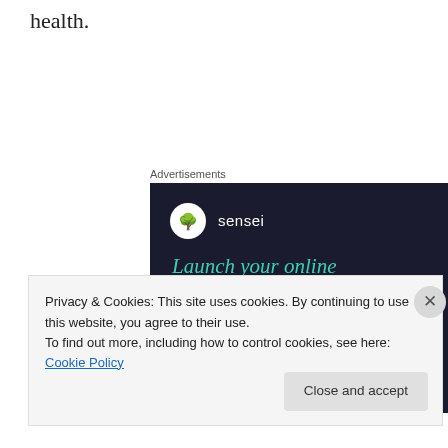health.
Advertisements
[Figure (illustration): Sensei advertisement banner on dark navy background. Shows Sensei logo (tree icon in white circle) with tagline 'Launch your online course with WordPress' in teal italic text, and a teal 'Learn More' button.]
Privacy & Cookies: This site uses cookies. By continuing to use this website, you agree to their use.
To find out more, including how to control cookies, see here: Cookie Policy